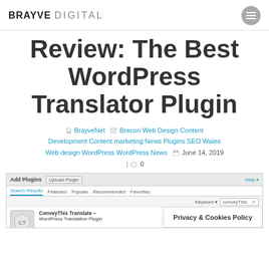BRAYVE DIGITAL
Review: The Best WordPress Translator Plugin
BrayveNet | Brecon Web Design Content Development Content marketing News Plugins SEO Wales Web design WordPress WordPress News | June 14, 2019 | 0
[Figure (screenshot): WordPress Add Plugins admin page screenshot showing search results tab and search for 'conveyThis', with ConveyThis Translate WordPress Translation Plugin visible, and a Privacy & Cookies Policy cookie banner overlay.]